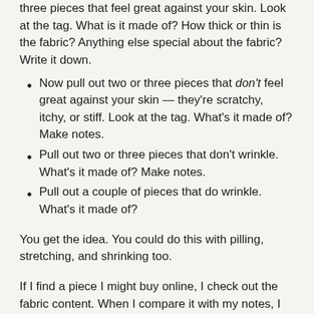three pieces that feel great against your skin. Look at the tag. What is it made of? How thick or thin is the fabric? Anything else special about the fabric? Write it down.
Now pull out two or three pieces that don’t feel great against your skin — they’re scratchy, itchy, or stiff. Look at the tag. What’s it made of? Make notes.
Pull out two or three pieces that don’t wrinkle. What’s it made of? Make notes.
Pull out a couple of pieces that do wrinkle. What’s it made of?
You get the idea. You could do this with pilling, stretching, and shrinking too.
If I find a piece I might buy online, I check out the fabric content. When I compare it with my notes, I can predict how a piece will drape, how it will feel, and how prone it might be to wrinkles.